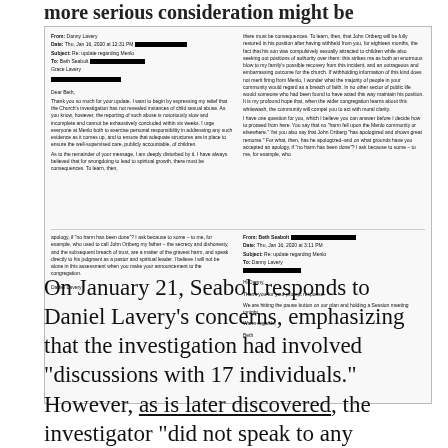more serious consideration might be considered.
[Figure (screenshot): Scanned email correspondence. Left column shows an email from Danny Lavery dated Thu, Jan 16, 2020 at 12:31 PM, Subject: Re update regarding Menlo, To: Beth Seabolt. The email begins 'Dear Beth,' and discusses the Church's investigation, personal responsibility, and consequences. Right column continues the email text about John Ortberg remaining in his position and asking about the apology. A second email in the right column is from Beth Seabolt, dated Thu, Jan 16, 2020 at 3:11 PM, Subject: Re: update regarding Menlo, To: Danny Lavery, beginning 'Hi Danny,' noting they are hitting the pause button and holding a Session meeting tonight.]
On January 21, Seabolt responds to Daniel Lavery’s concerns, emphasizing that the investigation had involved “discussions with 17 individuals.” However, as is later discovered, the investigator “did not speak to any